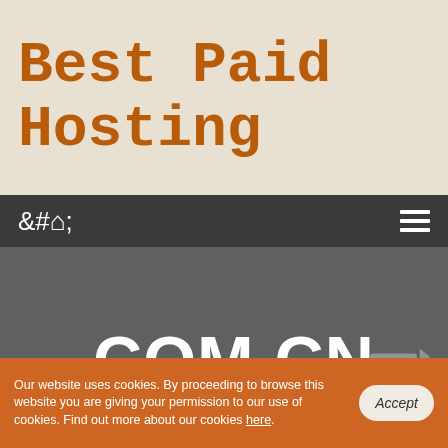Best Paid Hosting
[Figure (screenshot): Navigation bar with home icon and hamburger menu icon on dark gray background]
.COM.CN
Registering .COM.CN
Our website uses cookies. By proceeding to browse this website you are giving your permission to our use of cookies. Find out more about our cookies here.